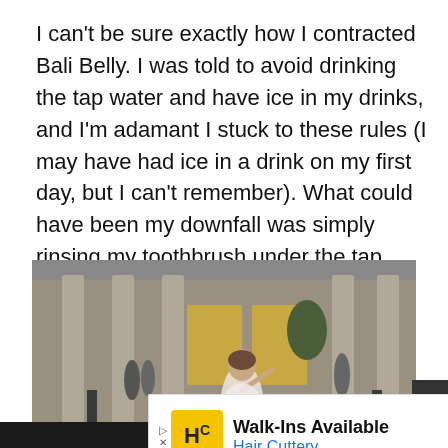I can't be sure exactly how I contracted Bali Belly. I was told to avoid drinking the tap water and have ice in my drinks, and I'm adamant I stuck to these rules (I may have had ice in a drink on my first day, but I can't remember). What could have been my downfall was simply rinsing my toothbrush under the tap before brushing my teeth.
[Figure (photo): A woman in a white dress standing outdoors in front of a building with large columns, with other people visible in the background. The image appears to be a still from a movie or TV show.]
[Figure (screenshot): Advertisement for Hair Cuttery salon. Shows HC logo in yellow square, text 'Walk-Ins Available' in bold and 'Hair Cuttery' in blue, with a blue diamond navigation arrow on the right.]